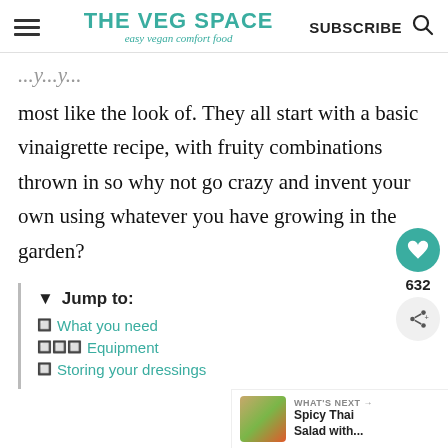THE VEG SPACE — easy vegan comfort food
most like the look of.  They all start with a basic vinaigrette recipe, with fruity combinations thrown in so why not go crazy and invent your own using whatever you have growing in the garden?
▼ Jump to:
🔲 What you need
🔲🔲🔲 Equipment
🔲 Storing your dressings